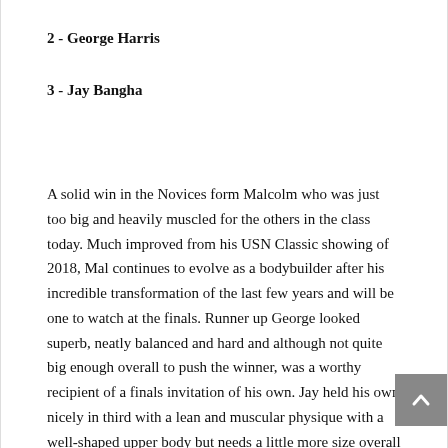2 - George Harris
3 - Jay Bangha
A solid win in the Novices form Malcolm who was just too big and heavily muscled for the others in the class today. Much improved from his USN Classic showing of 2018, Mal continues to evolve as a bodybuilder after his incredible transformation of the last few years and will be one to watch at the finals. Runner up George looked superb, neatly balanced and hard and although not quite big enough overall to push the winner, was a worthy recipient of a finals invitation of his own. Jay held his own nicely in third with a lean and muscular physique with a well-shaped upper body but needs a little more size overall and some emphasis on his legs to complete the picture.